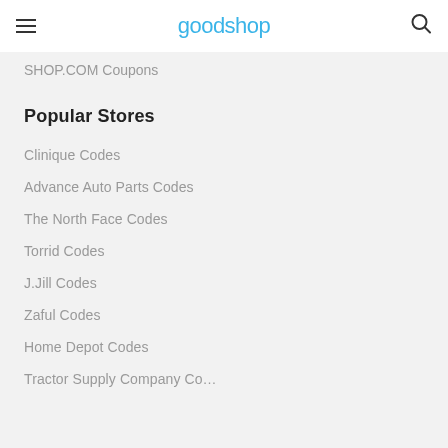goodshop
SHOP.COM Coupons
Popular Stores
Clinique Codes
Advance Auto Parts Codes
The North Face Codes
Torrid Codes
J.Jill Codes
Zaful Codes
Home Depot Codes
Tractor Supply Company Co…